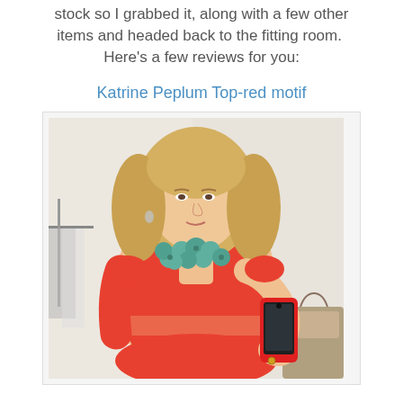stock so I grabbed it, along with a few other items and headed back to the fitting room.  Here's a few reviews for you:
Katrine Peplum Top-red motif
[Figure (photo): Woman in a fitting room taking a mirror selfie wearing a red/coral lace peplum top and a turquoise floral statement necklace, holding a red smartphone.]